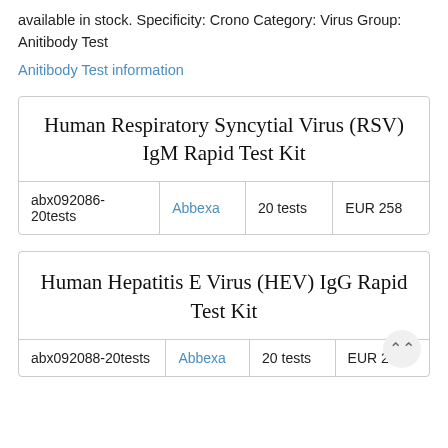available in stock. Specificity: Crono Category: Virus Group: Anitibody Test
Anitibody Test information
| Product | Supplier | Quantity | Price |
| --- | --- | --- | --- |
| Human Respiratory Syncytial Virus (RSV) IgM Rapid Test Kit |  |  |  |
| abx092086-20tests | Abbexa | 20 tests | EUR 258 |
| Product | Supplier | Quantity | Price |
| --- | --- | --- | --- |
| Human Hepatitis E Virus (HEV) IgG Rapid Test Kit |  |  |  |
| abx092088-20tests | Abbexa | 20 tests | EUR 230 |